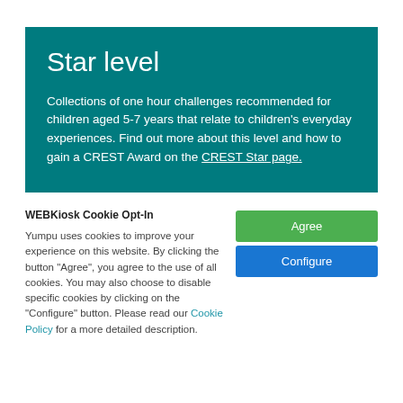Star level
Collections of one hour challenges recommended for children aged 5-7 years that relate to children's everyday experiences. Find out more about this level and how to gain a CREST Award on the CREST Star page.
WEBKiosk Cookie Opt-In
Yumpu uses cookies to improve your experience on this website. By clicking the button "Agree", you agree to the use of all cookies. You may also choose to disable specific cookies by clicking on the "Configure" button. Please read our Cookie Policy for a more detailed description.